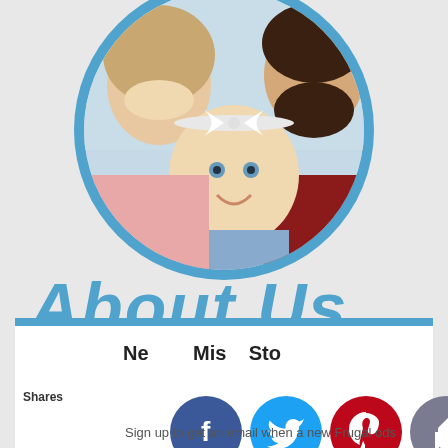[Figure (photo): Circular profile photo with blue border showing a family: a woman smiling on the left, a baby with a white bow headband in the center, and a bearded man on the right]
About Us
[Figure (infographic): White panel with blue top border containing social share buttons: Facebook (blue circle with f), Twitter (cyan circle with bird), Pinterest (red circle with P), thumbs up (grey circle), crown/bookmark (dark blue circle), and a 'Shares' label on the left]
Never Miss A Sto
Sign up to get an email when a new Frugal-ods